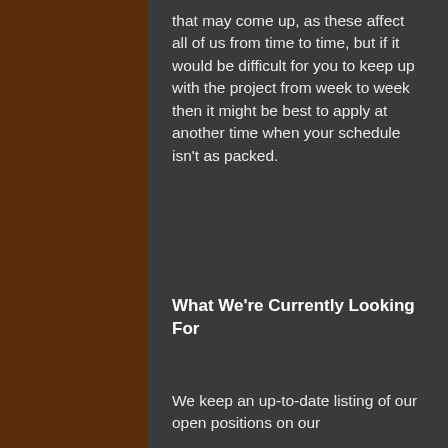that may come up, as these affect all of us from time to time, but if it would be difficult for you to keep up with the project from week to week then it might be best to apply at another time when your schedule isn't as packed.
What We're Currently Looking For
We keep an up-to-date listing of our open positions on our